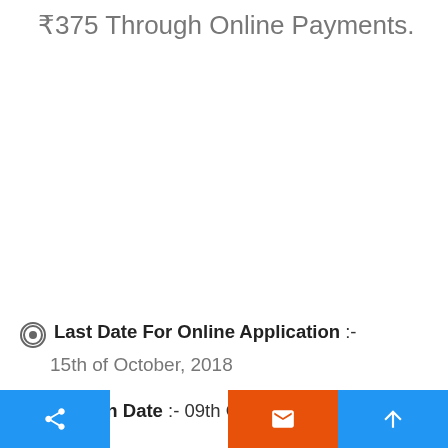₹375 Through Online Payments.
Last Date For Online Application :- 15th of October, 2018
Examination Date :- 09th Of December, 2018